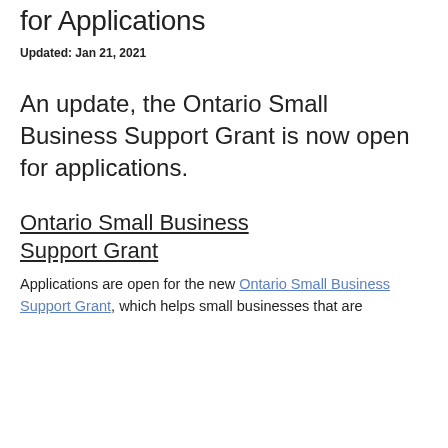for Applications
Updated: Jan 21, 2021
An update, the Ontario Small Business Support Grant is now open for applications.
Ontario Small Business Support Grant
Applications are open for the new Ontario Small Business Support Grant, which helps small businesses that are